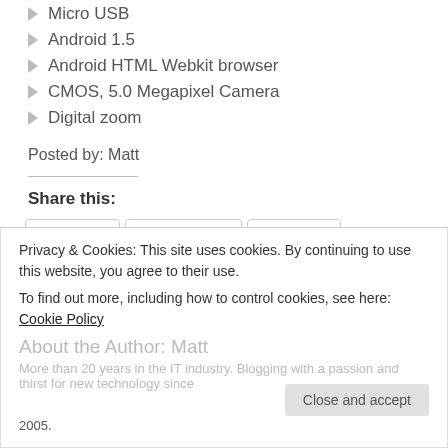Micro USB
Android 1.5
Android HTML Webkit browser
CMOS, 5.0 Megapixel Camera
Digital zoom
Posted by: Matt
Share this:
Twitter  Facebook  Reddit  Pinterest  Email
Privacy & Cookies: This site uses cookies. By continuing to use this website, you agree to their use.
To find out more, including how to control cookies, see here: Cookie Policy
About the Author: Matt
More than 20 years in the IT industry. Blogging with a passion and thirst for new technology since 2005.